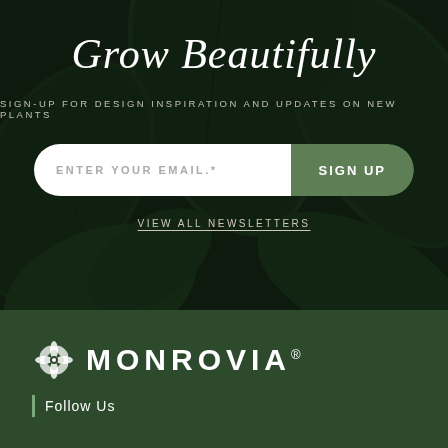[Figure (photo): Dark green tropical leaves background forming a lush, shadowy backdrop]
Grow Beautifully
SIGN-UP FOR DESIGN INSPIRATION AND UPDATES ON NEW PLANTS
ENTER YOUR EMAIL.*
SIGN UP
VIEW ALL NEWSLETTERS
[Figure (logo): Monrovia logo with leaf icon and text MONROVIA with registered trademark symbol]
Follow Us